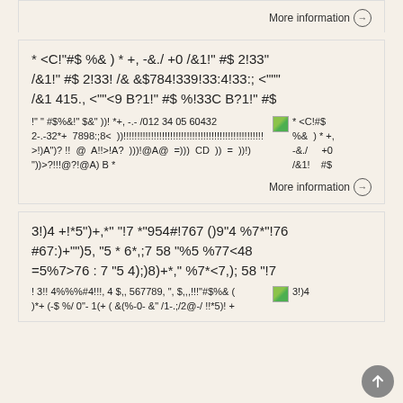More information →
* <C!"#$ %& ) * +, -&./ +0 /&1!" #$ 2!33" /&1!" #$ 2!33! /& &$784!339!33:4!33:; <""" /&1 415., <""<9 B?1!" #$ %!33C B?1!" #$
!" " #$%&!" $&" ))! *+, -.- /012 34 05 60432 2-.-32*+ 7898:;8< ))!!!!!!!!!!!!!!!!!!!!!!!!!!!!!!!!!!!!!!!!!!!!!!!!!!!!! >!)A")? !! @ A!!>!A? )))!@A@ =))) CD )) = ))!) "))>?!!!@?!@A) B *
* <C!#$ %& ) * +, -&./ +0 /&1! #$
More information →
3!)4 +!*5")+,*" "!7 *"954#!767 ()9"4 %7*"!76 #67:)+")5, "5 * 6*,;7 58 "%5 %77<48 =5%7>76 : 7 "5 4);)8)+*," %7*<7,); 58 "!7
! 3!! 4%%%#4!!!, 4 $,, 567789, ", $,,,!!!"#$%& ( 3!)4 )*+ (-$ %/ 0"- 1(+ ( &(%-0- &" /1-.;/2@-/ !!*5)! +